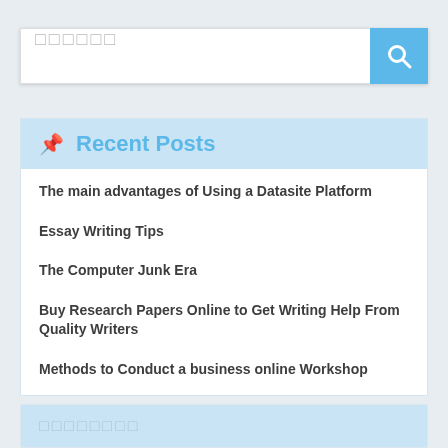[Figure (screenshot): Search bar with placeholder text (represented as squares) and a blue search button with magnifying glass icon]
📌 Recent Posts
The main advantages of Using a Datasite Platform
Essay Writing Tips
The Computer Junk Era
Buy Research Papers Online to Get Writing Help From Quality Writers
Methods to Conduct a business online Workshop
□□□□□□□□